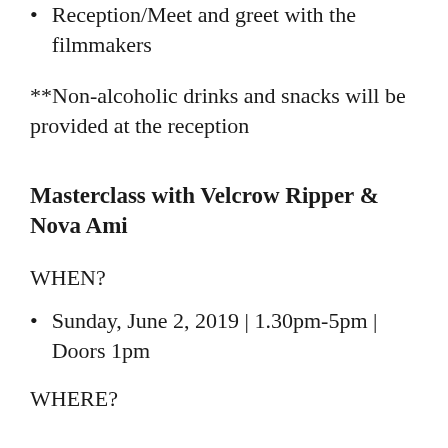Reception/Meet and greet with the filmmakers
**Non-alcoholic drinks and snacks will be provided at the reception
Masterclass with Velcrow Ripper & Nova Ami
WHEN?
Sunday, June 2, 2019 | 1.30pm-5pm | Doors 1pm
WHERE?